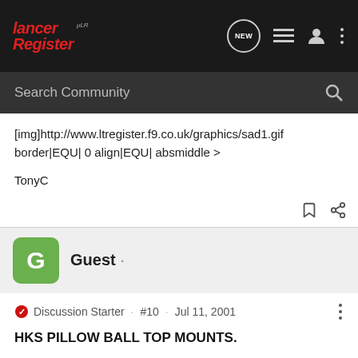[Figure (logo): Lancer Register forum logo with navigation icons (NEW bubble, list icon, user icon, three dots)]
Search Community
[img]http://www.ltregister.f9.co.uk/graphics/sad1.gif border|EQU| 0 align|EQU| absmiddle >
TonyC
[Figure (infographic): Green square avatar with letter G for Guest user]
Guest ·
Discussion Starter · #10 · Jul 11, 2001
HKS PILLOW BALL TOP MOUNTS.
You can order them from graham goode or tdi.